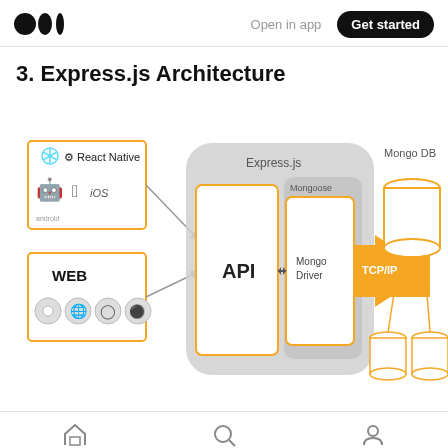Medium logo | Open in app | Get started
3. Express.js Architecture
[Figure (engineering-diagram): Express.js architecture diagram showing React Native (Android/iOS) and WEB clients connected via orange-bordered boxes to an Express.js server containing an API box and Mongo Driver box inside a Mongoose container (gray rounded rectangle), connected via a TCP/IP orange arrow to a MongoDB database cluster (one large cylinder at top right, two smaller cylinders below).]
Home | Search | Profile icons